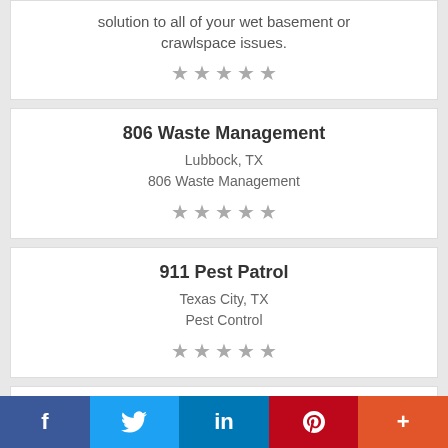solution to all of your wet basement or crawlspace issues.
[Figure (other): 5 empty grey stars (rating)]
806 Waste Management
Lubbock, TX
806 Waste Management
[Figure (other): 5 empty grey stars (rating)]
911 Pest Patrol
Texas City, TX
Pest Control
[Figure (other): 5 empty grey stars (rating)]
A & M Welding
Stuart, OK
f  (Twitter bird)  in  (Pinterest P)  +